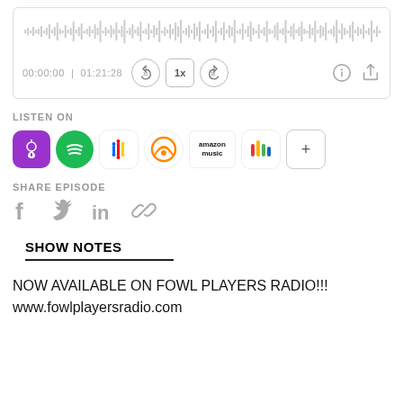[Figure (screenshot): Audio player waveform and controls showing timestamp 00:00:00 | 01:21:28 with rewind 10s, 1x speed, forward 30s, info, and share buttons]
LISTEN ON
[Figure (infographic): Platform icons: Apple Podcasts, Spotify, Google Podcasts, Overcast, Amazon Music, iHeartRadio, plus button]
SHARE EPISODE
[Figure (infographic): Social share icons: Facebook, Twitter, LinkedIn, Link]
SHOW NOTES
NOW AVAILABLE ON FOWL PLAYERS RADIO!!!
www.fowlplayersradio.com